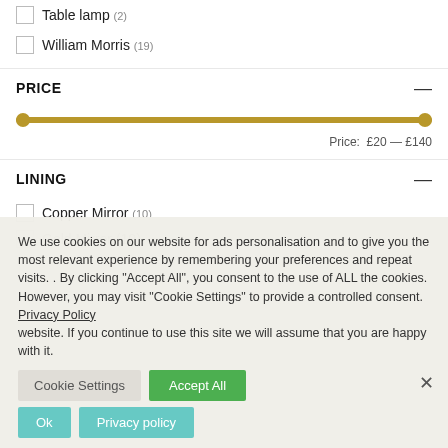Table lamp (2)
William Morris (19)
PRICE
Price: £20 — £140
LINING
Copper Mirror (10)
Gold Mirror (10)
We use cookies on our website for ads personalisation and to give you the most relevant experience by remembering your preferences and repeat visits. . By clicking "Accept All", you consent to the use of ALL the cookies. However, you may visit "Cookie Settings" to provide a controlled consent. Privacy Policy
Cookie Settings  Accept All  Ok  Privacy policy